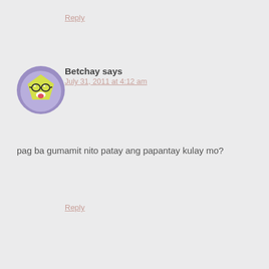Reply
Betchay says
July 31, 2011 at 4:12 am
[Figure (illustration): Cartoon avatar of a yellow pentagon-shaped face with glasses and tongue sticking out, set on a purple circular background]
pag ba gumamit nito patay ang papantay kulay mo?
Reply